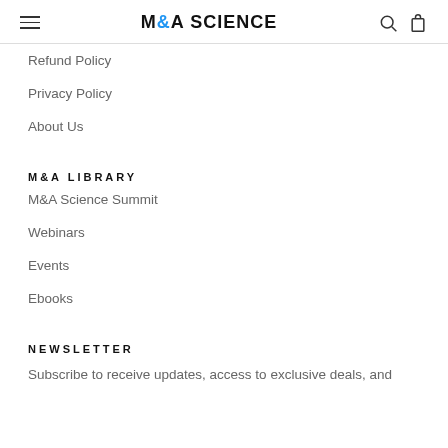M&A SCIENCE
Refund Policy
Privacy Policy
About Us
M&A LIBRARY
M&A Science Summit
Webinars
Events
Ebooks
NEWSLETTER
Subscribe to receive updates, access to exclusive deals, and